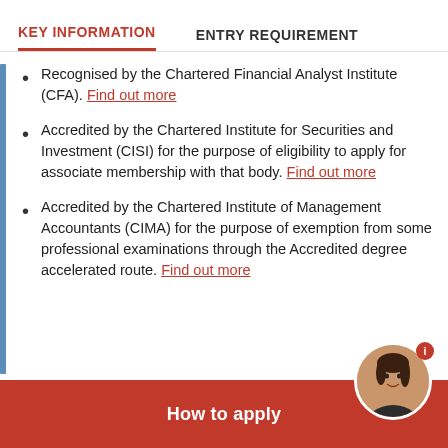KEY INFORMATION | ENTRY REQUIREMENT
Recognised by the Chartered Financial Analyst Institute (CFA). Find out more
Accredited by the Chartered Institute for Securities and Investment (CISI) for the purpose of eligibility to apply for associate membership with that body. Find out more
Accredited by the Chartered Institute of Management Accountants (CIMA) for the purpose of exemption from some professional examinations through the Accredited degree accelerated route. Find out more
How to apply